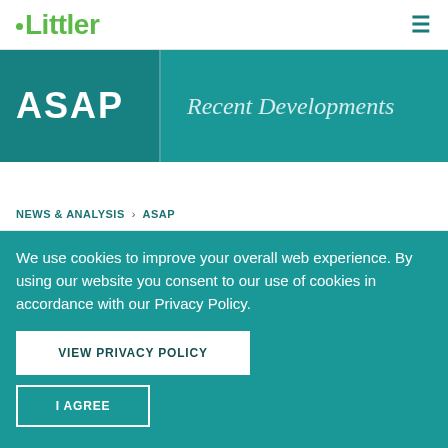Littler
ASAP
Recent Developments
NEWS & ANALYSIS > ASAP
We use cookies to improve your overall web experience. By using our website you consent to our use of cookies in accordance with our Privacy Policy.
VIEW PRIVACY POLICY
I AGREE